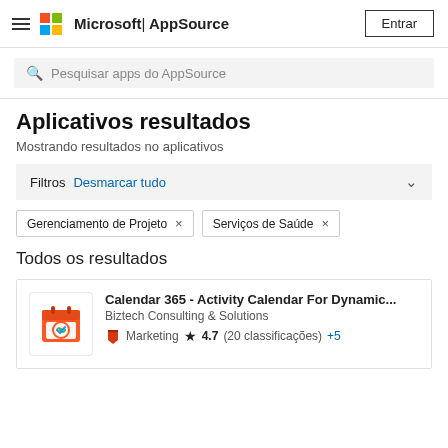Microsoft | AppSource — Entrar
Pesquisar apps do AppSource
Aplicativos resultados
Mostrando resultados no aplicativos
Filtros  Desmarcar tudo
Gerenciamento de Projeto ×
Serviços de Saúde ×
Todos os resultados
Calendar 365 - Activity Calendar For Dynamic...
Biztech Consulting & Solutions
Marketing  ★ 4.7 (20 classificações)  +5